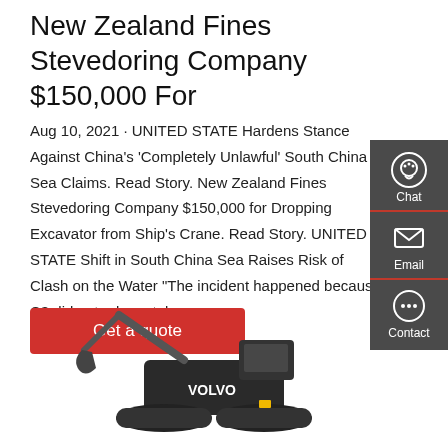New Zealand Fines Stevedoring Company $150,000 For
Aug 10, 2021 · UNITED STATE Hardens Stance Against China's 'Completely Unlawful' South China Sea Claims. Read Story. New Zealand Fines Stevedoring Company $150,000 for Dropping Excavator from Ship's Crane. Read Story. UNITED STATE Shift in South China Sea Raises Risk of Clash on the Water "The incident happened because C3 did not adequately
[Figure (other): Volvo excavator photograph shown at bottom of page]
[Figure (infographic): Sidebar with Chat, Email, and Contact icons on dark grey background]